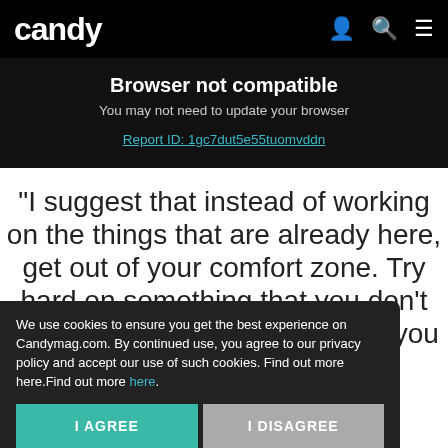candy
Browser not compatible
You may need to update your browser
Report ID: 1gc7dut5e55tuomvddn
"I suggest that instead of working on the things that are already here, get out of your comfort zone. Try hard on something that you don't really like, not even something you know you'll eventually like."
Read on App
ADVERTISEMENT - CONTINUE READING BELOW
We use cookies to ensure you get the best experience on Candymag.com. By continued use, you agree to our privacy policy and accept our use of such cookies. Find out more here.Find out more here.
I AGREE
I DISAGREE